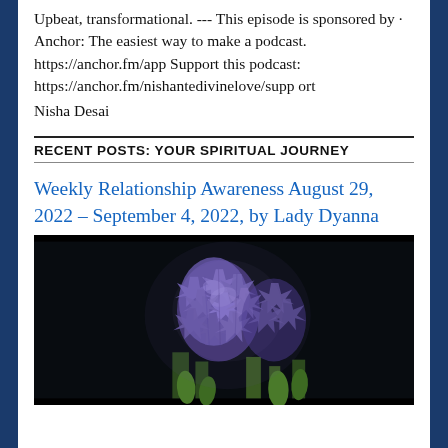Upbeat, transformational. --- This episode is sponsored by · Anchor: The easiest way to make a podcast. https://anchor.fm/app Support this podcast: https://anchor.fm/nishantedivinelove/support
Nisha Desai
RECENT POSTS: YOUR SPIRITUAL JOURNEY
Weekly Relationship Awareness August 29, 2022 – September 4, 2022, by Lady Dyanna
[Figure (photo): Close-up photo of purple/blue hyacinth flowers against a dark background with green stems visible]